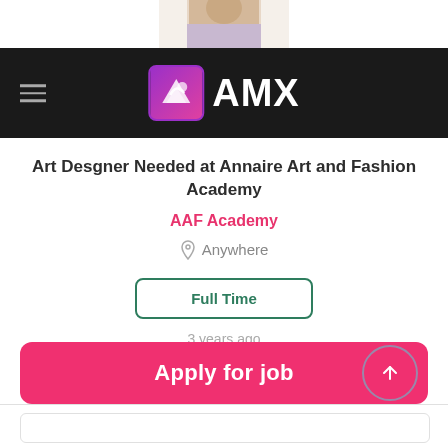[Figure (photo): Partial photo of a person at top of page (cropped), above the navigation bar]
AMX — Navigation bar with hamburger menu and AMX logo
Art Desgner Needed at Annaire Art and Fashion Academy
AAF Academy
Anywhere
Full Time
3 years ago
Apply for job